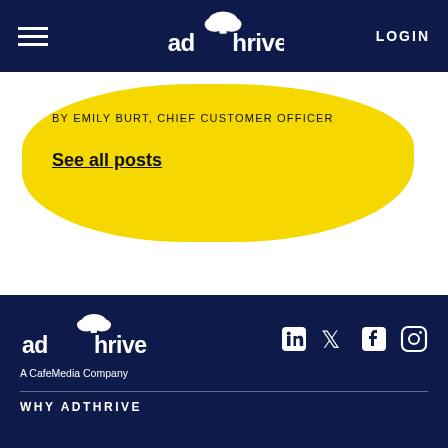AdThrive | LOGIN
BY EMILY BURT, CHIEF CUSTOMER OFFICER
See all posts
[Figure (logo): AdThrive logo in white on dark navy footer background with social media icons (LinkedIn, Twitter, Facebook, Instagram)]
A CafeMedia Company
WHY ADTHRIVE